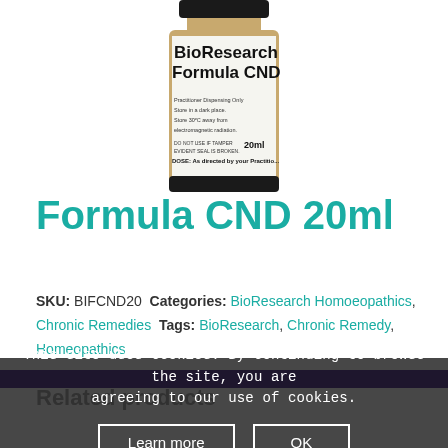[Figure (photo): A small amber glass bottle labeled 'BioResearch Formula CND 20ml'. The label reads 'Practitioner Dispensing Only. Store in a dark place. Store 30C away from electromagnetic radiation. DO NOT USE IF TAMPER EVIDENT SEAL IS BROKEN. DOSE: As directed by your Practitioner.']
Formula CND 20ml
SKU: BIFCND20 Categories: BioResearch Homoeopathics, Chronic Remedies Tags: BioResearch, Chronic Remedy, Homeopathics
Related products
This site uses cookies. By continuing to browse the site, you are agreeing to our use of cookies.
Learn more | OK